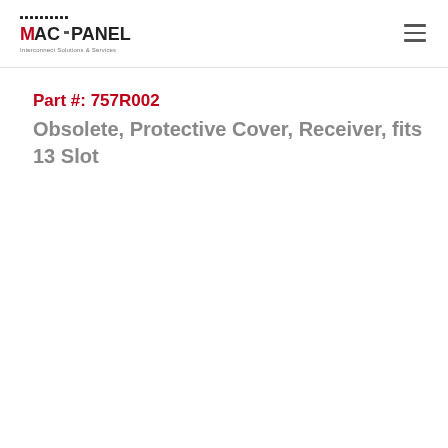MAC-PANEL Interconnect Solutions & Services
Part #: 757R002
Obsolete, Protective Cover, Receiver, fits 13 Slot